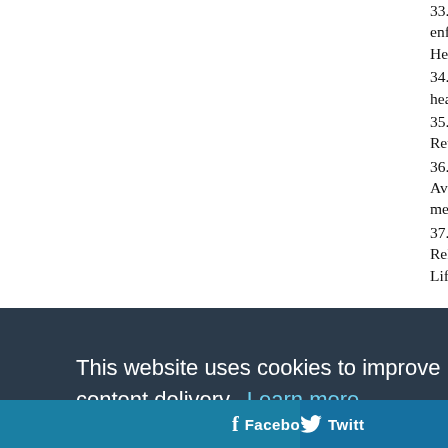33. Foley KL, Proescholdbell S, Herndo... enforcement of tobacco bans in two p... Health Care. 2010;16:98–105.
34. Williams JM. Eliminating tobacco u... health, and policy issues. JAMA. 2008;
35. Baker TB, Brandon TH, Chassin L. M... Rev Psychol. 2004;55:463–491.
36. Harrington E. House adopts amend... Available at: http://freebeacon.com/iss... members-right-to-tobacco/. Accessed...
37. Bray RM, Hourani LL, Olmsted DLR... Related Behaviors Among Active Duty... Lifestyle Assessment Program (DLAP)
This website uses cookies to improve content delivery. Learn more
Got it!
Facebook   Twitter